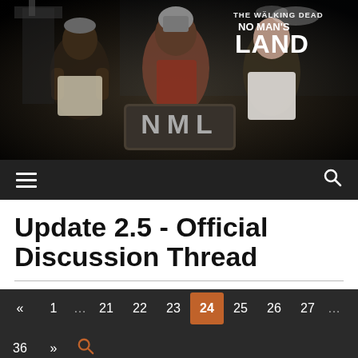[Figure (photo): Banner image for Walking Dead: No Man's Land game showing three characters (prisoners/guards) with NML text in foreground. Top right logo reads 'THE WALKING DEAD NO MAN'S LAND'.]
Navigation bar with hamburger menu icon and search icon
Update 2.5 - Official Discussion Thread
Pagination: « 1 … 21 22 23 24 25 26 27 … 36 »
stoneheart   Posts: 62
March 2017